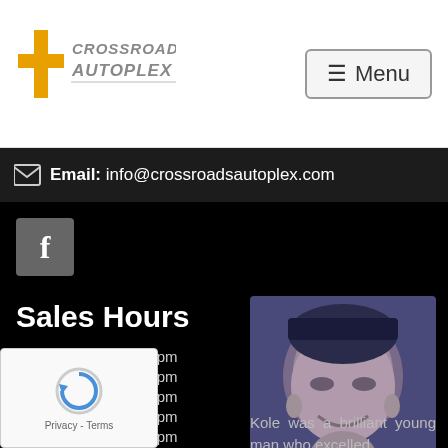[Figure (logo): Crossroads Autoplex logo with yellow cross and stylized text]
[Figure (illustration): Hamburger menu button with three lines and Menu text]
Email: info@crossroadsautoplex.com
[Figure (logo): Facebook icon button]
Sales Hours
Mon: 9:00am - 7:30pm
Tue: 9:00am - 7:30pm
Wed: 9:00am - 7:30pm
Thu: 9:00am - 7:30pm
Fri: 9:00am - 7:30pm
9:00am - 6:00pm
Closed
[Figure (photo): Portrait photo of a young man smiling, blue-tinted filter]
Kole was a brilliant young man who excelled